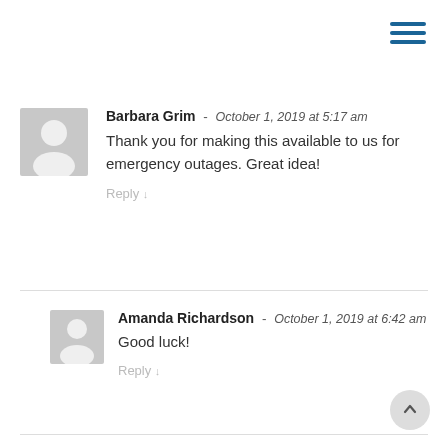Barbara Grim - October 1, 2019 at 5:17 am
Thank you for making this available to us for emergency outages. Great idea!
Reply
Amanda Richardson - October 1, 2019 at 6:42 am
Good luck!
Reply
Leave a Reply to Amanda Richardson  Cancel
Reply